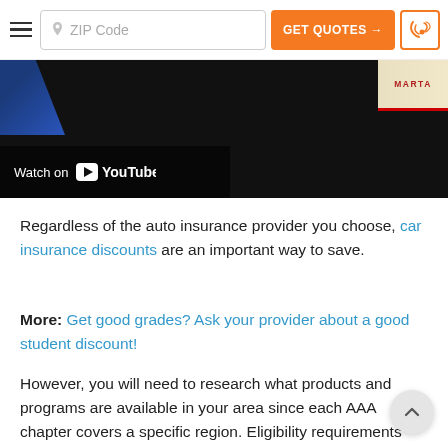ZIP Code | GET QUOTES → | [phone icon]
[Figure (screenshot): YouTube video embed showing a dark background with a blue shape on the left, a MARTA badge on the right, and a 'Watch on YouTube' bar at the bottom left.]
Regardless of the auto insurance provider you choose, car insurance discounts are an important way to save.
More: Get good grades? Ask your provider about a good student discount!
However, you will need to research what products and programs are available in your area since each AAA chapter covers a specific region. Eligibility requirements for insurance discounts vary by location.